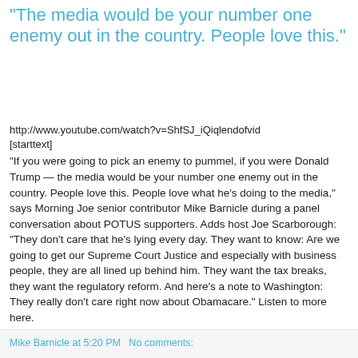"The media would be your number one enemy out in the country. People love this."
http://www.youtube.com/watch?v=ShfSJ_iQiqlendofvid
[starttext]
“If you were going to pick an enemy to pummel, if you were Donald Trump — the media would be your number one enemy out in the country. People love this. People love what he’s doing to the media,” says Morning Joe senior contributor Mike Barnicle during a panel conversation about POTUS supporters. Adds host Joe Scarborough: “They don’t care that he’s lying every day. They want to know: Are we going to get our Supreme Court Justice and especially with business people, they are all lined up behind him. They want the tax breaks, they want the regulatory reform. And here’s a note to Washington: They really don’t care right now about Obamacare.” Listen to more here.
[endtext]
Mike Barnicle at 5:20 PM   No comments: